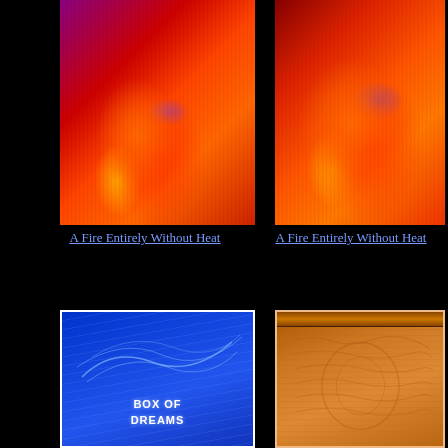[Figure (illustration): A figure seated and playing an instrument, rendered in red and orange tones with purple accents — painting titled 'A Fire Entirely Without Heat']
A Fire Entirely Without Heat
[Figure (illustration): A similar figure seated and playing an instrument, larger view, rendered in red and orange tones — painting titled 'A Fire Entirely Without Heat']
A Fire Entirely Without Heat
[Figure (illustration): A blue artwork with swirling patterns and text reading 'BOX OF DREAMS']
[Figure (illustration): A wooden panel or relief carving with raised decorative patterns on an orange-brown wood surface with a bar across the top]